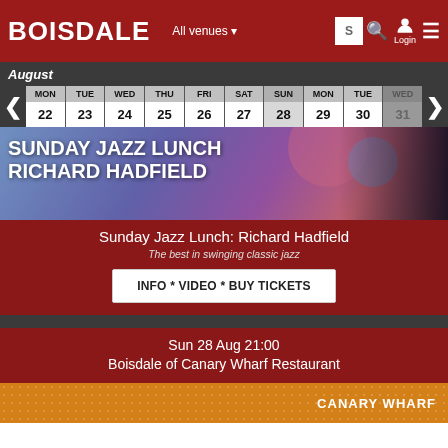BOISDALE  All venues  S  Login
| MON | TUE | WED | THU | FRI | SAT | SUN | MON | TUE | WED |
| --- | --- | --- | --- | --- | --- | --- | --- | --- | --- |
| 22 | 23 | 24 | 25 | 26 | 27 | 28 | 29 | 30 | 31 |
[Figure (photo): Promotional banner for Sunday Jazz Lunch featuring Richard Hadfield with jazz musician playing guitar in background]
Sunday Jazz Lunch: Richard Hadfield
The best in swinging classic jazz
INFO * VIDEO * BUY TICKETS
Sun 28 Aug 21:00
Boisdale of Canary Wharf Restaurant
[Figure (photo): Canary Wharf venue promotional strip with golden/orange dotted background and CANARY WHARF text]